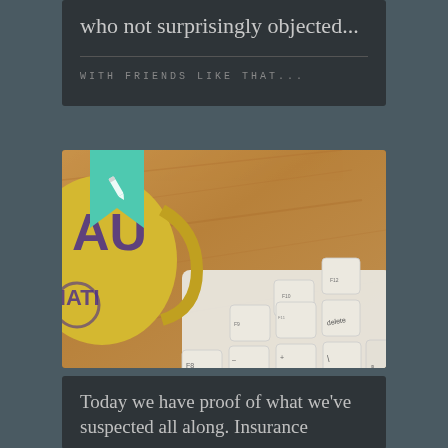who not surprisingly objected...
WITH FRIENDS LIKE THAT...
[Figure (photo): Photo of a coffee mug with LSU branding on a wooden bamboo desk surface next to a white Apple keyboard]
Today we have proof of what we've suspected all along. Insurance